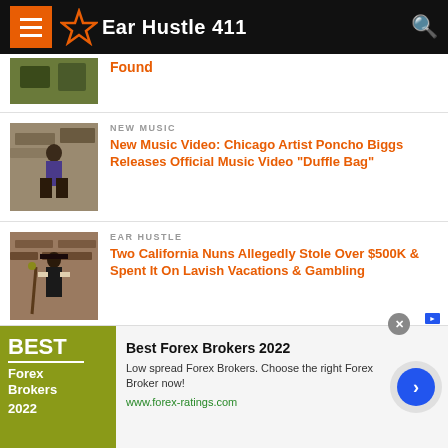Ear Hustle 411
Found
NEW MUSIC
New Music Video: Chicago Artist Poncho Biggs Releases Official Music Video “Duffle Bag”
EAR HUSTLE
Two California Nuns Allegedly Stole Over $500K & Spent It On Lavish Vacations & Gambling
EAR HUSTLE
Best Forex Brokers 2022 - Low spread Forex Brokers. Choose the right Forex Broker now! www.forex-ratings.com